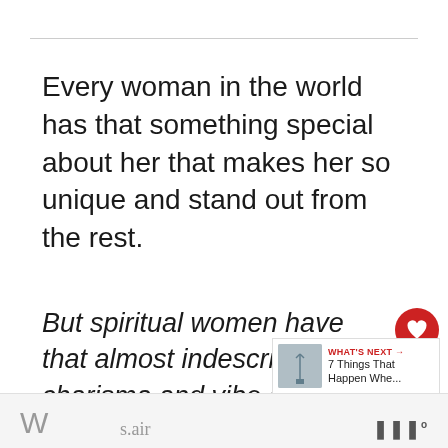Every woman in the world has that something special about her that makes her so unique and stand out from the rest.
But spiritual women have that almost indescribable charisma and vibe about them that simply makes them that much more irresistible.